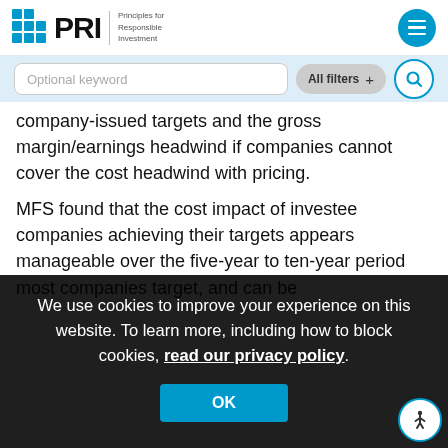PRI — Principles for Responsible Investment
company-issued targets and the gross margin/earnings headwind if companies cannot cover the cost headwind with pricing.
MFS found that the cost impact of investee companies achieving their targets appears manageable over the five-year to ten-year period most companies target, and can be co... di... is... co... pl...
[Figure (screenshot): Cookie consent overlay on dark background with text: We use cookies to improve your experience on this website. To learn more, including how to block cookies, read our privacy policy. OK button in blue.]
Among MFS's fixed income team, this is now a key discussed in terms of ESG materiality for several